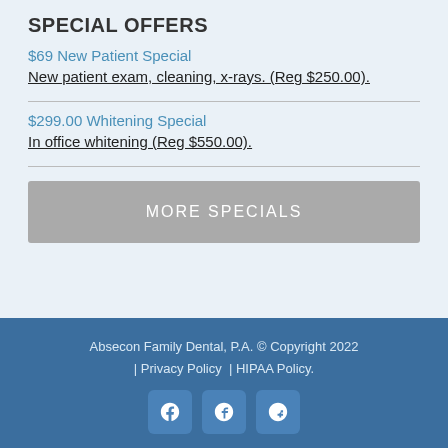SPECIAL OFFERS
$69 New Patient Special
New patient exam, cleaning, x-rays. (Reg $250.00).
$299.00 Whitening Special
In office whitening (Reg $550.00).
MORE SPECIALS
Absecon Family Dental, P.A. © Copyright 2022 | Privacy Policy | HIPAA Policy.